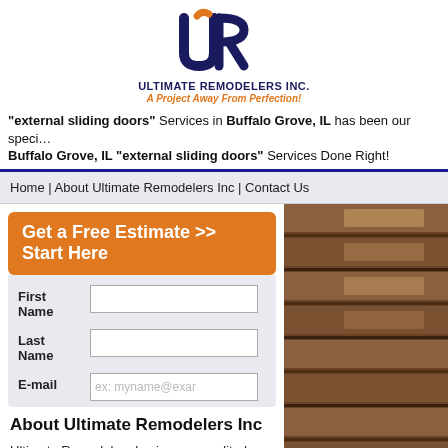[Figure (logo): Ultimate Remodelers Inc logo with stylized U and R letters in dark blue and orange, with company name and tagline 'A Project Away From Perfection!']
"external sliding doors" Services in Buffalo Grove, IL has been our specialty. Buffalo Grove, IL "external sliding doors" Services Done Right!
Home | About Ultimate Remodelers Inc | Contact Us
Get a Free Estimate >> Start Here
First Name
Last Name
E-mail
[Figure (photo): Close-up photo of brown/wood-toned horizontal window blinds or slats with light filtering through]
About Ultimate Remodelers Inc
Ultimate Remodelers Inc is an accredited family owned and operated exterior remodeling business in the Buffalo Grove, IL area. Ultimate Remodelers Inc has over 15 years experience working in the Buffalo Grove, IL area, our professional staff works quickly to provide quality